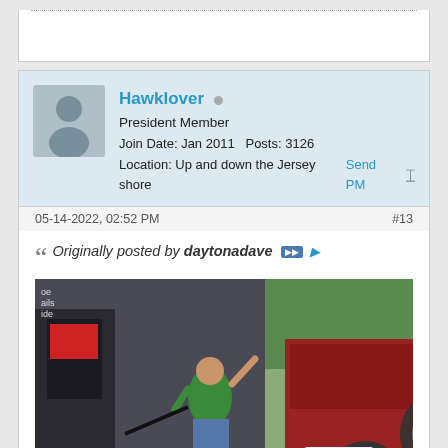Top strip with dotted border
Hawklover • President Member
Join Date: Jan 2011  Posts: 3126
Location: Up and down the Jersey shore  Send PM
05-14-2022, 02:52 PM  #13
Originally posted by daytonadave
[Figure (photo): Photo of a woman in green top and jeans standing at a gas station pump next to a red Jeep Wrangler (license plate 952-KOL), waving at the camera]